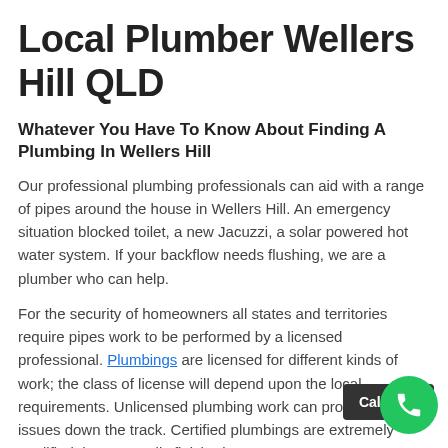Local Plumber Wellers Hill QLD
Whatever You Have To Know About Finding A Plumbing In Wellers Hill
Our professional plumbing professionals can aid with a range of pipes around the house in Wellers Hill. An emergency situation blocked toilet, a new Jacuzzi, a solar powered hot water system. If your backflow needs flushing, we are a plumber who can help.
For the security of homeowners all states and territories require pipes work to be performed by a licensed professional. Plumbings are licensed for different kinds of work; the class of license will depend upon the local requirements. Unlicensed plumbing work can produce safety issues down the track. Certified plumbings are extremely qualified, have actually finished